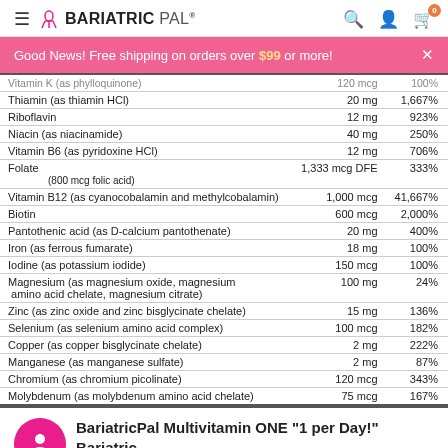BARIATRIC PAL
Good News! Free shipping on orders over $99 or more!
| Nutrient | Amount | % DV |
| --- | --- | --- |
| Vitamin K (as phylloquinone) | 120 mcg | 100% |
| Thiamin (as thiamin HCl) | 20 mg | 1,667% |
| Riboflavin | 12 mg | 923% |
| Niacin (as niacinamide) | 40 mg | 250% |
| Vitamin B6 (as pyridoxine HCl) | 12 mg | 706% |
| Folate | 1,333 mcg DFE (800 mcg folic acid) | 333% |
| Vitamin B12 (as cyanocobalamin and methylcobalamin) | 1,000 mcg | 41,667% |
| Biotin | 600 mcg | 2,000% |
| Pantothenic acid (as D-calcium pantothenate) | 20 mg | 400% |
| Iron (as ferrous fumarate) | 18 mg | 100% |
| Iodine (as potassium iodide) | 150 mcg | 100% |
| Magnesium (as magnesium oxide, magnesium amino acid chelate, magnesium citrate) | 100 mg | 24% |
| Zinc (as zinc oxide and zinc bisglycinate chelate) | 15 mg | 136% |
| Selenium (as selenium amino acid complex) | 100 mcg | 182% |
| Copper (as copper bisglycinate chelate) | 2 mg | 222% |
| Manganese (as manganese sulfate) | 2 mg | 87% |
| Chromium (as chromium picolinate) | 120 mcg | 343% |
| Molybdenum (as molybdenum amino acid chelate) | 75 mcg | 167% |
BariatricPal Multivitamin ONE "1 per Day!" Bariatric Multivitamin Capsules with 45mg Iron